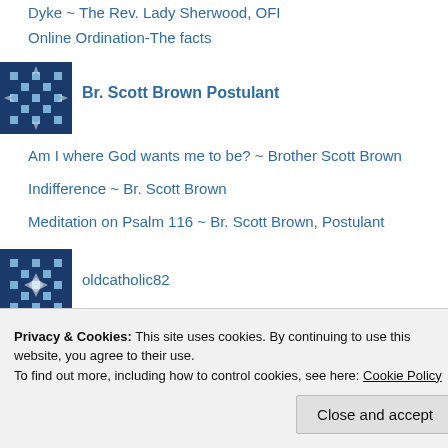Dyke ~ The Rev. Lady Sherwood, OFI
Online Ordination-The facts
Br. Scott Brown Postulant
Am I where God wants me to be? ~ Brother Scott Brown
Indifference ~ Br. Scott Brown
Meditation on Psalm 116 ~ Br. Scott Brown, Postulant
oldcatholic82
VeryreverendSisterLadySheilaSherwood
Privacy & Cookies: This site uses cookies. By continuing to use this website, you agree to their use.
To find out more, including how to control cookies, see here: Cookie Policy
Close and accept